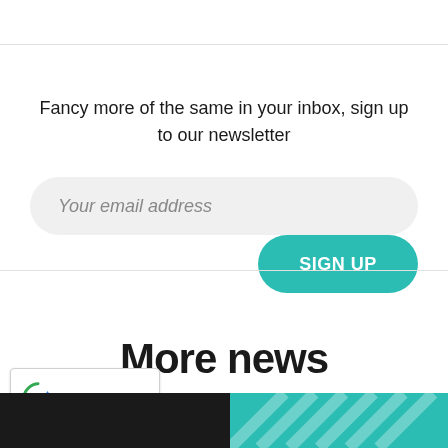Fancy more of the same in your inbox, sign up to our newsletter
[Figure (other): Email signup form with a light grey rounded input field labeled 'Your email address' in italic and a teal rounded button labeled 'SIGN UP' in white bold text]
More news
[Figure (other): reCAPTCHA badge with spinning arrow logo, 'Privacy' and 'Terms' links below]
[Figure (other): Bottom strip showing partial news article thumbnails - dark image on left, teal striped image on right]